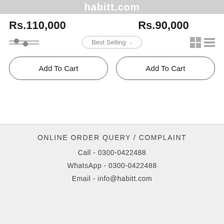habitt.com
Rs.110,000
Rs.90,000
Best Selling
Add To Cart
Add To Cart
ONLINE ORDER QUERY / COMPLAINT
Call - 0300-0422488
WhatsApp - 0300-0422488
Email - info@habitt.com